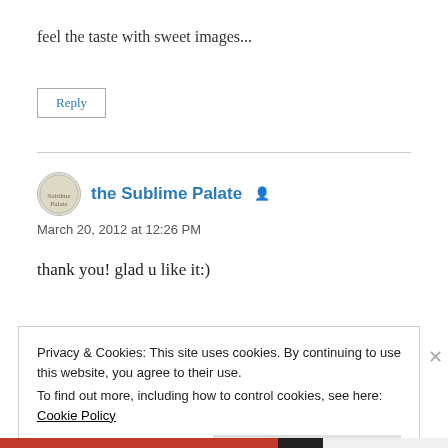feel the taste with sweet images...
Reply
the Sublime Palate
March 20, 2012 at 12:26 PM
thank you! glad u like it:)
Privacy & Cookies: This site uses cookies. By continuing to use this website, you agree to their use.
To find out more, including how to control cookies, see here: Cookie Policy
Close and accept